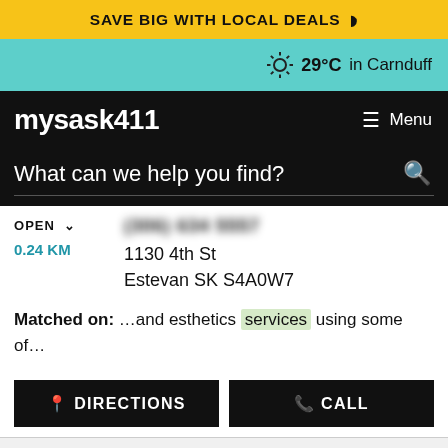SAVE BIG WITH LOCAL DEALS
29°C in Carnduff
mysask411
Menu
What can we help you find?
OPEN
0.24 KM
1130 4th St
Estevan SK S4A0W7
Matched on: …and esthetics services using some of…
DIRECTIONS
CALL